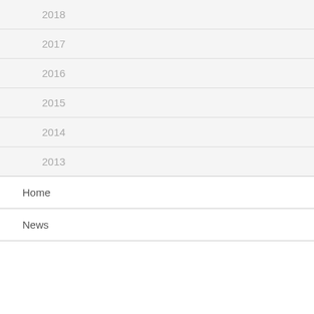2018
2017
2016
2015
2014
2013
Home
News